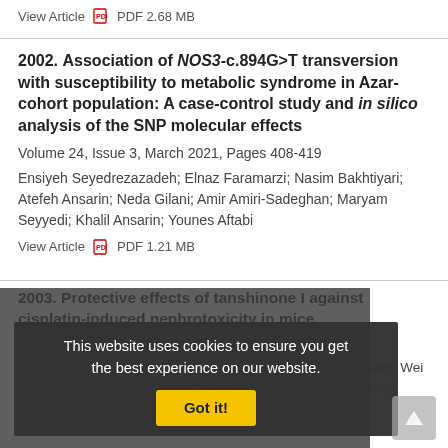View Article  PDF 2.68 MB
2002. Association of NOS3-c.894G>T transversion with susceptibility to metabolic syndrome in Azar-cohort population: A case-control study and in silico analysis of the SNP molecular effects
Volume 24, Issue 3, March 2021, Pages 408-419
Ensiyeh Seyedrezazadeh; Elnaz Faramarzi; Nasim Bakhtiyari; Atefeh Ansarin; Neda Gilani; Amir Amiri-Sadeghan; Maryam Seyyedi; Khalil Ansarin; Younes Aftabi
View Article  PDF 1.21 MB
2003. Protective effects of tanshinone I against cisplatin-induced nephrotoxicity in mice
Volume 25, Issue 3, March 2022, Pages 414-418
Yan Wang; Yun-hui Zhu; Yin-ru Tang; Jie Lang; Zhi-ying Huang; Wei Tian; Qian Huang; Yan Peng; Yuan Gao; Yue-qin Hu; Xue-nong Zhang
This website uses cookies to ensure you get the best experience on our website. Got it!